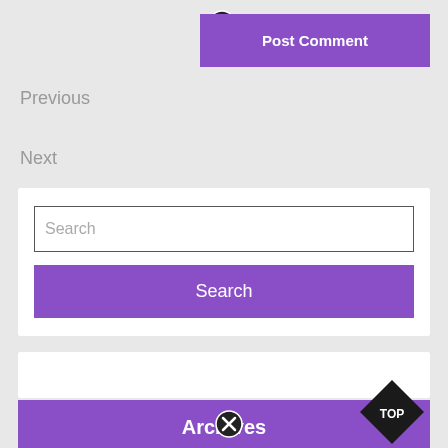[Figure (other): Close/cancel icon (X in circle) at top]
Post Comment
Previous
Next
Search
Search
Archives
March 2022
[Figure (other): Close/cancel icon (X in circle) bottom]
[Figure (other): TOP badge diamond shape]